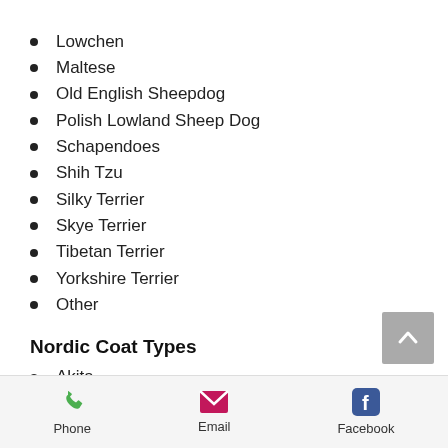Lowchen
Maltese
Old English Sheepdog
Polish Lowland Sheep Dog
Schapendoes
Shih Tzu
Silky Terrier
Skye Terrier
Tibetan Terrier
Yorkshire Terrier
Other
Nordic Coat Types
Akita
Alaskan Malamute
Chinook
Czechoslovakian Vlcak
Finnish Spitz
Icelandic Sheepdog, Short-haired
Phone  Email  Facebook